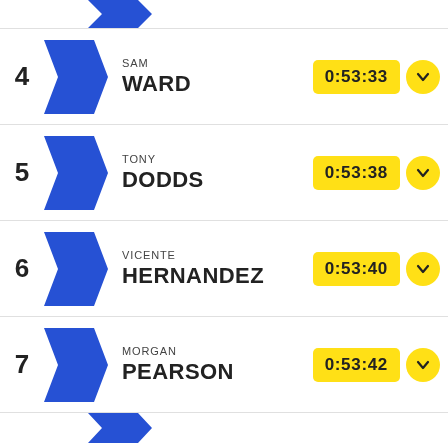4 SAM WARD 0:53:33
5 TONY DODDS 0:53:38
6 VICENTE HERNANDEZ 0:53:40
7 MORGAN PEARSON 0:53:42